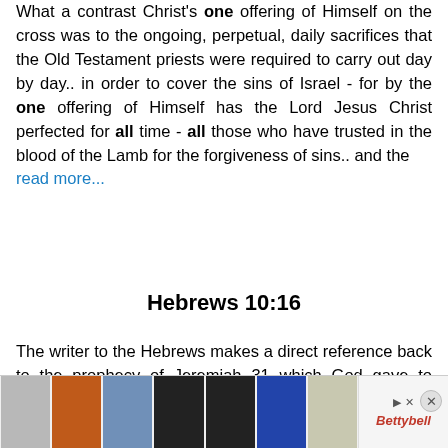What a contrast Christ's one offering of Himself on the cross was to the ongoing, perpetual, daily sacrifices that the Old Testament priests were required to carry out day by day.. in order to cover the sins of Israel - for by the one offering of Himself has the Lord Jesus Christ perfected for all time - all those who have trusted in the blood of the Lamb for the forgiveness of sins.. and the read more...
Hebrews 10:16
The writer to the Hebrews makes a direct reference back to the prophecy of Jeremiah 31 which God gave to Israel. For centuries they had done evil in the sight of the Lord. They had broken their covenant with Him and had followed after other gods. The northern kingdom had been defeated by Assyria and many in the southern kingdom had already been d... omised to mak... tructed Jeremi...
[Figure (other): Advertisement banner showing clothing items (coats, dresses) with playback controls and a Bettybell logo, with a close button.]